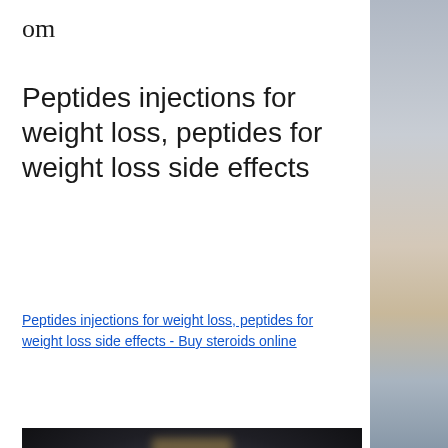om
Peptides injections for weight loss, peptides for weight loss side effects
Peptides injections for weight loss, peptides for weight loss side effects - Buy steroids online
[Figure (photo): Blurred dark image showing a figure or person, with colorful product items visible at the bottom, possibly supplement bottles or packages]